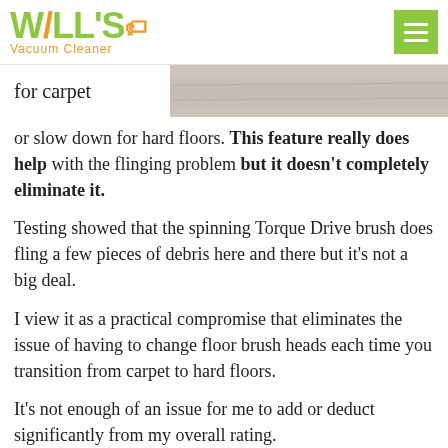Will's Vacuum Cleaner
[Figure (photo): Partial image of a floor surface (carpet/hardwood), cropped at the top right of the page]
for carpet or slow down for hard floors. This feature really does help with the flinging problem but it doesn't completely eliminate it.
Testing showed that the spinning Torque Drive brush does fling a few pieces of debris here and there but it's not a big deal.
I view it as a practical compromise that eliminates the issue of having to change floor brush heads each time you transition from carpet to hard floors.
It's not enough of an issue for me to add or deduct significantly from my overall rating.
In fact, the Dyson V11 is one of the best cordless